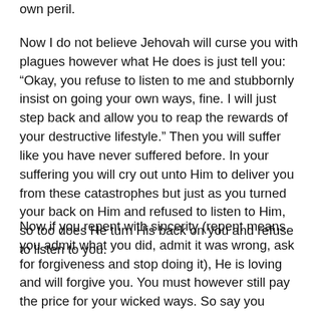own peril.
Now I do not believe Jehovah will curse you with plagues however what He does is just tell you: “Okay, you refuse to listen to me and stubbornly insist on going your own ways, fine. I will just step back and allow you to reap the rewards of your destructive lifestyle.” Then you will suffer like you have never suffered before. In your suffering you will cry out unto Him to deliver you from these catastrophes but just as you turned your back on Him and refused to listen to Him, so too does He turn His back on you and refuse to listen to you.
Now if you repent with sincerity (repent means you admit what you did, admit it was wrong, ask for forgiveness and stop doing it), He is loving and will forgive you. You must however still pay the price for your wicked ways. So say you murdered someone and are on death row. He will not deliver you from the execution but when you die you will